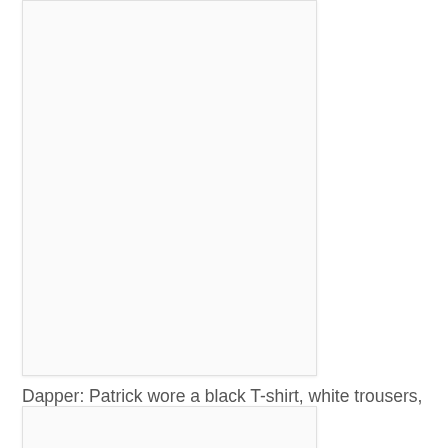[Figure (photo): A photograph placeholder box (white/light gray rectangle with border)]
Dapper: Patrick wore a black T-shirt, white trousers, boat shoes and designer sunglasses
[Figure (photo): A second photograph placeholder box (partially visible at bottom)]